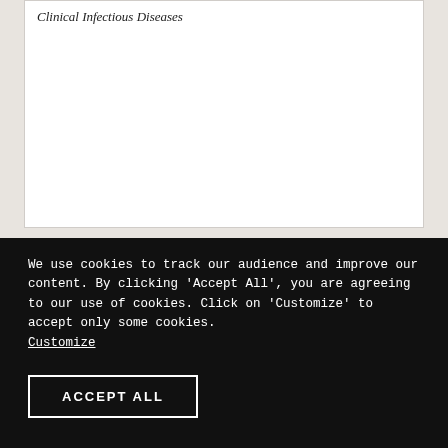Clinical Infectious Diseases
SCIENTIFIC ARTICLES
1 AUG 2022
We use cookies to track our audience and improve our content. By clicking 'Accept All', you are agreeing to our use of cookies. Click on 'Customize' to accept only some cookies. Customize
ACCEPT ALL